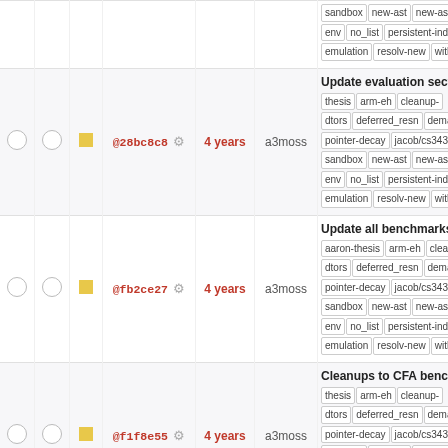|  |  |  | Hash | Age | Author | Description/Tags |
| --- | --- | --- | --- | --- | --- | --- |
|  |  |  | top-partial |  |  | sandbox new-ast new-ast-un env no_list persistent-indexe emulation resolv-new with_gc |
| ○ ○ | ■ |  | @28bc8c8 ⚙ | 4 years | a3moss | Update evaluation section | thesis arm-eh cleanup-dtors deferred_resn demangle pointer-decay jacob/cs343-trans sandbox new-ast new-ast-uni env no_list persistent-indexer emulation resolv-new with_gc |
| ○ ○ | ■ |  | @fb2ce27 ⚙ | 4 years | a3moss | Update all benchmarks to n | aaron-thesis arm-eh cleanup-dtors deferred_resn demangle pointer-decay jacob/cs343-trans sandbox new-ast new-ast-uni env no_list persistent-indexer emulation resolv-new with_gc |
| ○ ○ | ■ |  | @f1f8e55 ⚙ | 4 years | a3moss | Cleanups to CFA benchma | thesis arm-eh cleanup-dtors deferred_resn demangle pointer-decay jacob/cs343-trans sandbox new-ast new-ast-uni env no_list persistent-indexer emulation resolv-new with_gc |
| ○ ○ | ■ |  | @87555b7 ⚙ | 4 years | pabuhr | more changes | aaron-thesis arm-eh cleanup-dtors deferred_resn demangle pointer-decay jacob/cs343-trans sandbox new-ast new-ast-uni env no_list persistent-indexer emulation resolv-new with_gc |
| ○ ○ | ■ |  | @fb1446e ⚙ | 4 years | pabuhr | more updates | aaron-thesis dtors deferred_resn demangle pointer-decay jacob/cs343-trans |